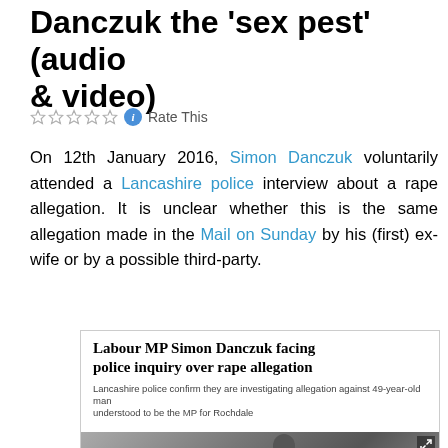Danczuk the 'sex pest' (audio & video)
Rate This
On 12th January 2016, Simon Danczuk voluntarily attended a Lancashire police interview about a rape allegation. It is unclear whether this is the same allegation made in the Mail on Sunday by his (first) ex-wife or by a possible third-party.
[Figure (screenshot): Screenshot of a news article headline: 'Labour MP Simon Danczuk facing police inquiry over rape allegation' with subheadline 'Lancashire police confirm they are investigating allegation against 49-year-old man understood to be the MP for Rochdale', and a photo of a man in a suit walking outdoors.]